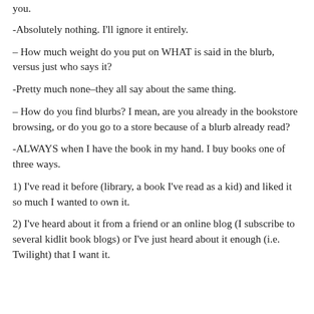you.
-Absolutely nothing. I'll ignore it entirely.
– How much weight do you put on WHAT is said in the blurb, versus just who says it?
-Pretty much none–they all say about the same thing.
– How do you find blurbs? I mean, are you already in the bookstore browsing, or do you go to a store because of a blurb already read?
-ALWAYS when I have the book in my hand. I buy books one of three ways.
1) I've read it before (library, a book I've read as a kid) and liked it so much I wanted to own it.
2) I've heard about it from a friend or an online blog (I subscribe to several kidlit book blogs) or I've just heard about it enough (i.e. Twilight) that I want it.